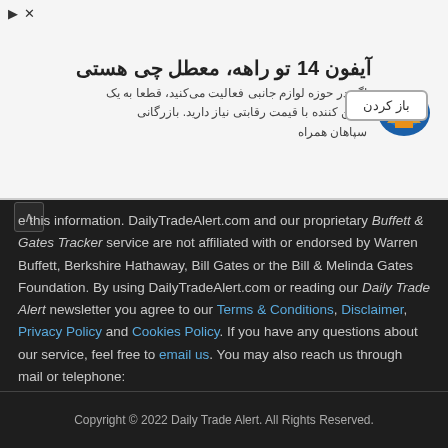[Figure (other): Persian-language advertisement banner with title 'آیفون 14 تو راهه، معطل چی هستی' and body text about accessories, with a logo and a 'باز کردن' button]
e this information. DailyTradeAlert.com and our proprietary Buffett & Gates Tracker service are not affiliated with or endorsed by Warren Buffett, Berkshire Hathaway, Bill Gates or the Bill & Melinda Gates Foundation. By using DailyTradeAlert.com or reading our Daily Trade Alert newsletter you agree to our Terms & Conditions, Disclaimer, Privacy Policy and Cookies Policy. If you have any questions about our service, feel free to email us. You may also reach us through mail or telephone:
DailyTradeAlert.com
P.O. Box 6
Hall, NY 14463
(585) 412-2145
Copyright © 2022 Daily Trade Alert. All Rights Reserved.